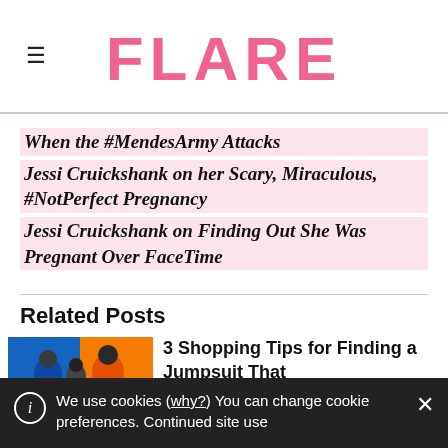FLARE
When the #MendesArmy Attacks
Jessi Cruickshank on her Scary, Miraculous, #NotPerfect Pregnancy
Jessi Cruickshank on Finding Out She Was Pregnant Over FaceTime
Related Posts
[Figure (photo): Photo thumbnail showing people against orange/blue background]
3 Shopping Tips for Finding a Jumpsuit That
We use cookies (why?) You can change cookie preferences. Continued site use